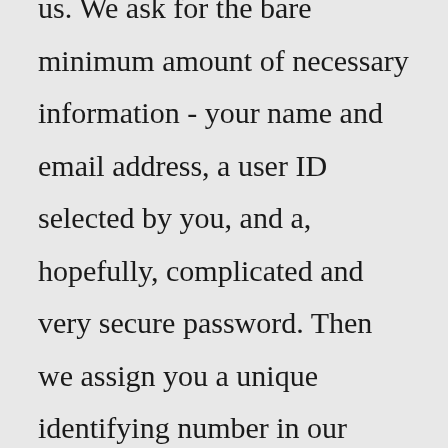us. We ask for the bare minimum amount of necessary information - your name and email address, a user ID selected by you, and a, hopefully, complicated and very secure password. Then we assign you a unique identifying number in our database. Over 3 billion password and email combinations have been compiled into one massive data dump, a treasure trove for hackers that experts have described as the